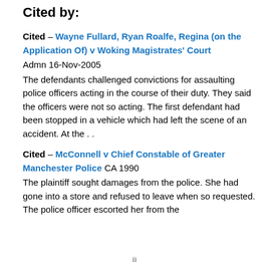Cited by:
Cited – Wayne Fullard, Ryan Roalfe, Regina (on the Application Of) v Woking Magistrates' Court Admn 16-Nov-2005 The defendants challenged convictions for assaulting police officers acting in the course of their duty. They said the officers were not so acting. The first defendant had been stopped in a vehicle which had left the scene of an accident. At the . .
Cited – McConnell v Chief Constable of Greater Manchester Police CA 1990 The plaintiff sought damages from the police. She had gone into a store and refused to leave when so requested. The police officer escorted her from the